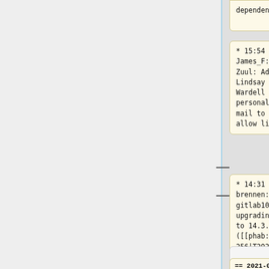dependency
* 15:54 James_F: Zuul: Add Lindsay Wardell personal e-mail to CI allow list
* 14:31 brennen: gitlab1001: upgrading to 14.3.2 ([[phab:T292256|T292256]])
== 2021-09-
== 2022-05-